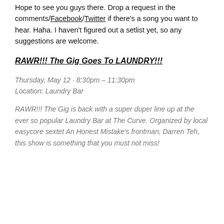Hope to see you guys there. Drop a request in the comments/Facebook/Twitter if there's a song you want to hear. Haha. I haven't figured out a setlist yet, so any suggestions are welcome.
RAWR!!! The Gig Goes To LAUNDRY!!!
Thursday, May 12 · 8:30pm – 11:30pm
Location: Laundry Bar
RAWR!!! The Gig is back with a super duper line up at the ever so popular Laundry Bar at The Curve. Organized by local easycore sextet An Honest Mistake's frontman, Darren Teh, this show is something that you must not miss!